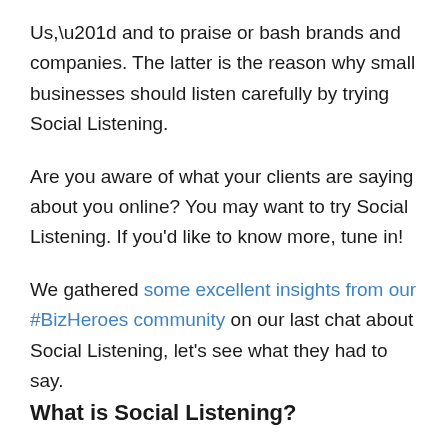Us,” and to praise or bash brands and companies. The latter is the reason why small businesses should listen carefully by trying Social Listening.
Are you aware of what your clients are saying about you online? You may want to try Social Listening. If you’d like to know more, tune in!
We gathered some excellent insights from our #BizHeroes community on our last chat about Social Listening, let’s see what they had to say.
What is Social Listening?